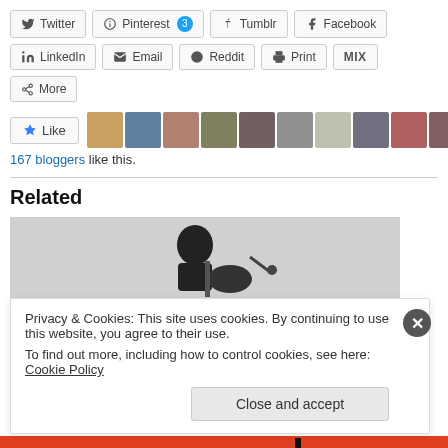[Figure (screenshot): Social share buttons row 1: Twitter, Pinterest (3), Tumblr, Facebook]
[Figure (screenshot): Social share buttons row 2: LinkedIn, Email, Reddit, Print, MIX]
[Figure (screenshot): More share button]
[Figure (screenshot): Like button and row of blogger avatar thumbnails]
167 bloggers like this.
Related
[Figure (photo): Black and white photo of a person playing guitar, related article image]
Privacy & Cookies: This site uses cookies. By continuing to use this website, you agree to their use.
To find out more, including how to control cookies, see here: Cookie Policy
Close and accept